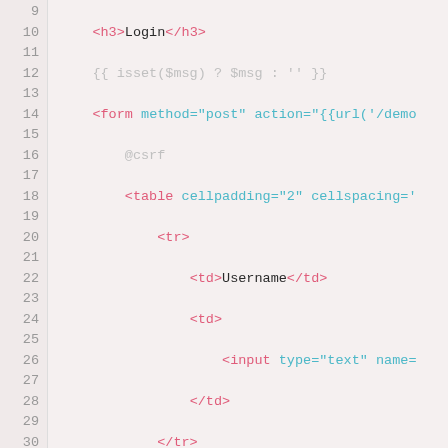[Figure (screenshot): Code editor screenshot showing lines 9-33 of a PHP/HTML Blade template file with syntax highlighting. The code shows a login form with table layout including username and password fields and a submit button.]